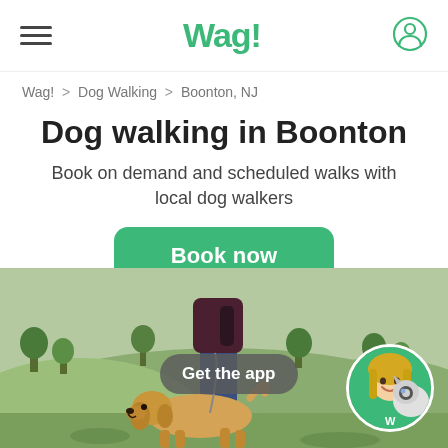Wag!
Wag! > Dog Walking > Boonton, NJ
Dog walking in Boonton
Book on demand and scheduled walks with local dog walkers
Book now
[Figure (photo): Person walking a golden retriever dog outdoors with scenic green landscape in the background, with a circular profile photo of a blonde woman in a green Wag! shirt with a dog, and a 'Get the app' badge overlay]
Get the app